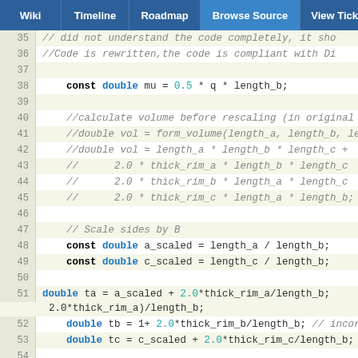Wiki | Timeline | Roadmap | Browse Source | View Tickets | Search
[Figure (screenshot): Source code browser showing C++ code lines 35-59 with line numbers, syntax highlighting (keywords bold, types in blue, numeric literals in teal, comments in gray italic). Code involves double mu, volume calculations, scaling by B, and variable declarations for ta, tb, tc, Vin.]